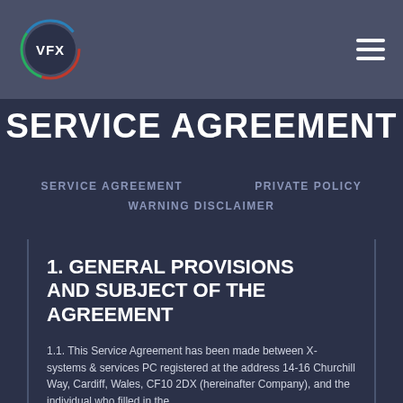VFX | SERVICE AGREEMENT
SERVICE AGREEMENT
SERVICE AGREEMENT   PRIVATE POLICY   WARNING DISCLAIMER
1. GENERAL PROVISIONS AND SUBJECT OF THE AGREEMENT
1.1. This Service Agreement has been made between X-systems & services PC registered at the address 14-16 Churchill Way, Cardiff, Wales, CF10 2DX (hereinafter Company), and the individual who filled in the